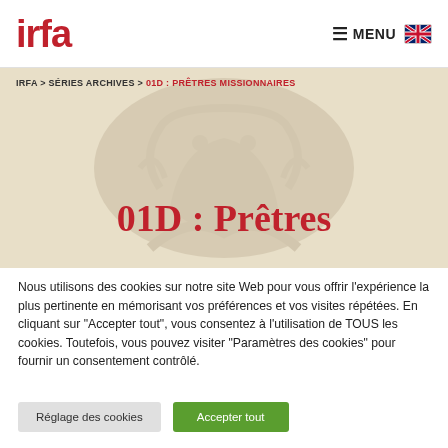IRFA — MENU
[Figure (screenshot): Banner background with faint watermark illustration of a figure, beige/tan background]
IRFA > SÉRIES ARCHIVES > 01D : PRÊTRES MISSIONNAIRES
01D : Prêtres
Nous utilisons des cookies sur notre site Web pour vous offrir l'expérience la plus pertinente en mémorisant vos préférences et vos visites répétées. En cliquant sur "Accepter tout", vous consentez à l'utilisation de TOUS les cookies. Toutefois, vous pouvez visiter "Paramètres des cookies" pour fournir un consentement contrôlé.
Réglage des cookies | Accepter tout